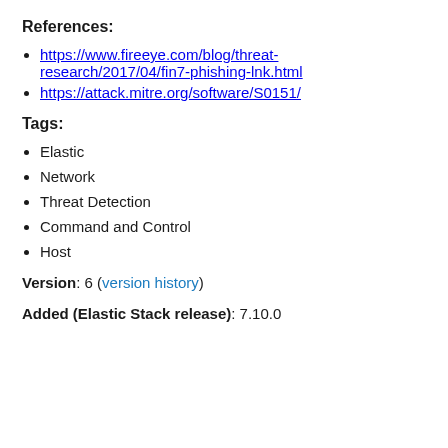References:
https://www.fireeye.com/blog/threat-research/2017/04/fin7-phishing-lnk.html
https://attack.mitre.org/software/S0151/
Tags:
Elastic
Network
Threat Detection
Command and Control
Host
Version: 6 (version history)
Added (Elastic Stack release): 7.10.0